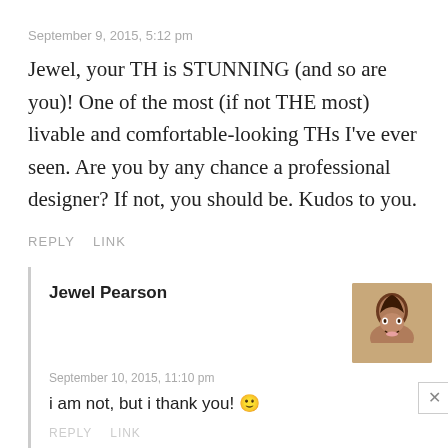September 9, 2015, 5:12 pm
Jewel, your TH is STUNNING (and so are you)! One of the most (if not THE most) livable and comfortable-looking THs I've ever seen. Are you by any chance a professional designer? If not, you should be. Kudos to you.
REPLY   LINK
Jewel Pearson
September 10, 2015, 11:10 pm
i am not, but i thank you! 🙂
REPLY   LINK